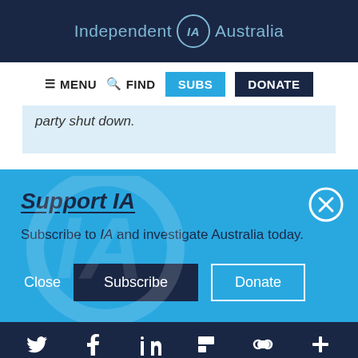Independent IA Australia
≡ MENU  🔍 FIND  SUBS  DONATE
party shut down.
Support IA
Subscribe to IA and investigate Australia today.
Close  Subscribe  Donate
Social icons: Twitter, Facebook, LinkedIn, Flipboard, Link, Plus